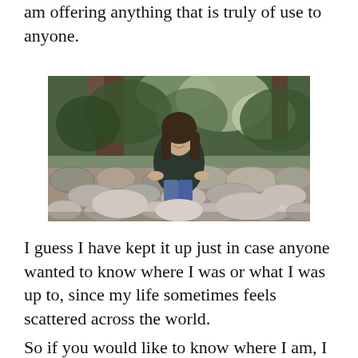am offering anything that is truly of use to anyone.
[Figure (photo): A woman with long dark hair sitting on a stone wall surrounded by trees and greenery, smiling at the camera. Outdoor nature setting with rocks and vegetation.]
I guess I have kept it up just in case anyone wanted to know where I was or what I was up to, since my life sometimes feels scattered across the world.
So if you would like to know where I am, I